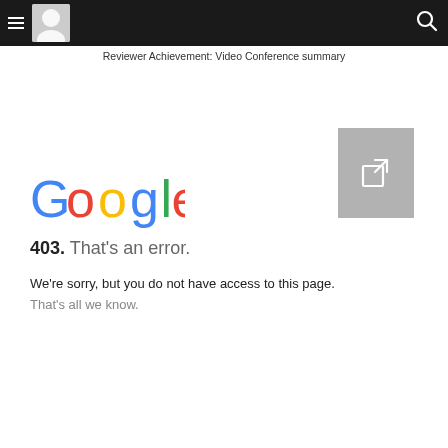Reviewer Achievement: Video Conference summary
[Figure (screenshot): Google 403 error page screenshot with Google logo and error message]
403. That's an error.
We're sorry, but you do not have access to this page.
That's all we know.